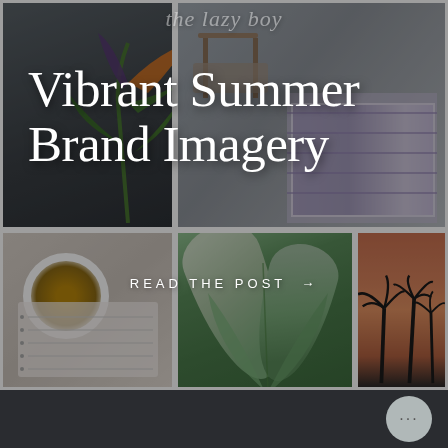[Figure (photo): Collage of summer brand images including tropical bird of paradise flower, beach chair items, coffee cup with notebook, tropical green leaves, and palm trees at sunset against an orange sky. Dark overlay on top of the collage.]
Vibrant Summer Brand Imagery
READ THE POST →